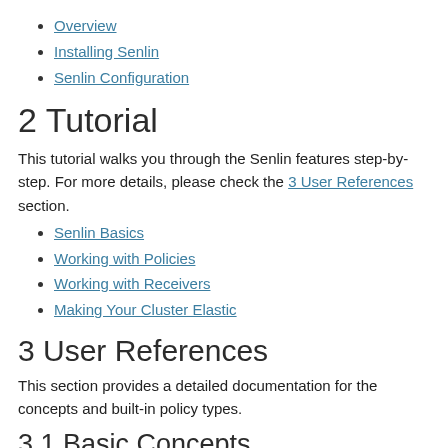Overview
Installing Senlin
Senlin Configuration
2 Tutorial
This tutorial walks you through the Senlin features step-by-step. For more details, please check the 3 User References section.
Senlin Basics
Working with Policies
Working with Receivers
Making Your Cluster Elastic
3 User References
This section provides a detailed documentation for the concepts and built-in policy types.
3.1 Basic Concepts
Profile Types
Profiles